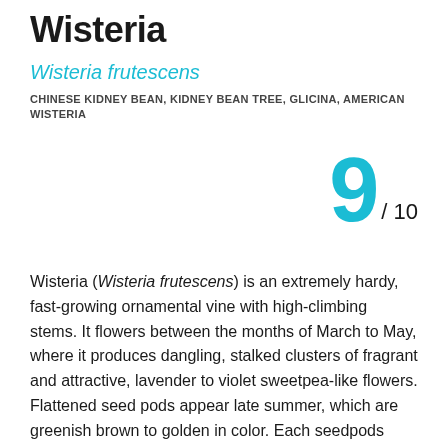Wisteria
Wisteria frutescens
CHINESE KIDNEY BEAN, KIDNEY BEAN TREE, GLICINA, AMERICAN WISTERIA
9 / 10
Wisteria (Wisteria frutescens) is an extremely hardy, fast-growing ornamental vine with high-climbing stems. It flowers between the months of March to May, where it produces dangling, stalked clusters of fragrant and attractive, lavender to violet sweetpea-like flowers. Flattened seed pods appear late summer, which are greenish brown to golden in color. Each seedpods contains 1 to 8 round brown seeds.